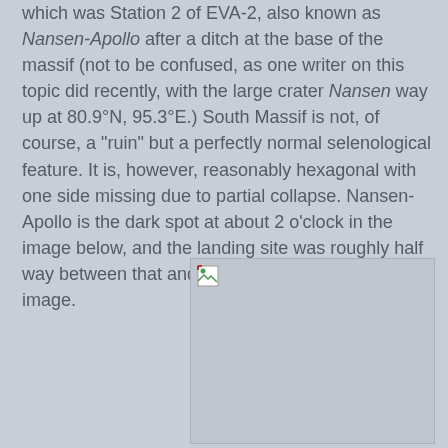which was Station 2 of EVA-2, also known as Nansen-Apollo after a ditch at the base of the massif (not to be confused, as one writer on this topic did recently, with the large crater Nansen way up at 80.9°N, 95.3°E.) South Massif is not, of course, a "ruin" but a perfectly normal selenological feature. It is, however, reasonably hexagonal with one side missing due to partial collapse. Nansen-Apollo is the dark spot at about 2 o'clock in the image below, and the landing site was roughly half way between that and the top right corner of the image.
[Figure (photo): A broken/missing image placeholder showing a lunar surface photograph referenced in the text.]